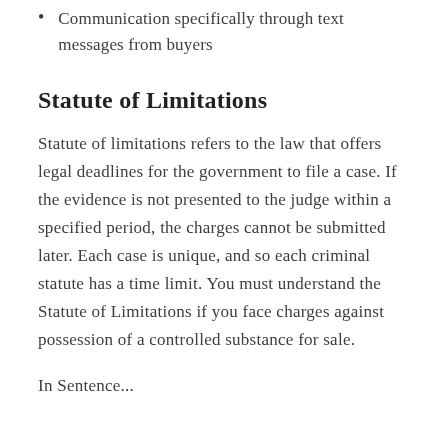Communication specifically through text messages from buyers
Statute of Limitations
Statute of limitations refers to the law that offers legal deadlines for the government to file a case. If the evidence is not presented to the judge within a specified period, the charges cannot be submitted later. Each case is unique, and so each criminal statute has a time limit. You must understand the Statute of Limitations if you face charges against possession of a controlled substance for sale.
In Sentence...